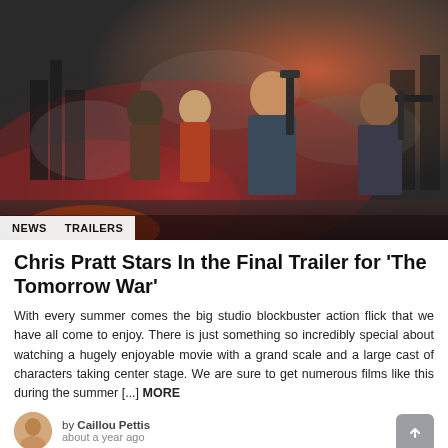[Figure (photo): Movie promotional image for 'The Tomorrow War' showing soldiers in tactical gear with weapons amid smoke and destruction. Chris Pratt is the central figure.]
NEWS   TRAILERS
Chris Pratt Stars In the Final Trailer for 'The Tomorrow War'
With every summer comes the big studio blockbuster action flick that we have all come to enjoy. There is just something so incredibly special about watching a hugely enjoyable movie with a grand scale and a large cast of characters taking center stage. We are sure to get numerous films like this during the summer [...] MORE
by Caillou Pettis
about a year ago